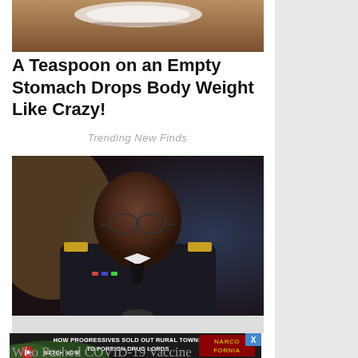[Figure (photo): Top portion of an advertisement showing a spoon with white powder on a wooden surface]
A Teaspoon on an Empty Stomach Drops Body Weight Like Crazy!
Trending New Finds
[Figure (photo): A Black man in US Army military uniform with general insignia, speaking, appearing to be at a Senate hearing]
[Figure (infographic): Advertisement banner: HOW PROGRESSIVES SOLD OUT RURAL TOWNS TO FOREIGN DRUG LORDS - WATCH NOW - NARCOFORNIA logo]
Who Pushed COVID-19 Vaccine